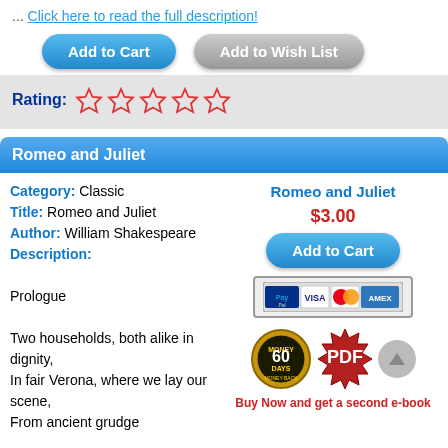... Click here to read the full description!
[Figure (screenshot): Add to Cart and Add to Wish List buttons]
Rating: ☆☆☆☆☆
Romeo and Juliet
Category: Classic
Title: Romeo and Juliet
Author: William Shakespeare
Description:

Prologue

Two households, both alike in dignity,
In fair Verona, where we lay our scene,
From ancient grudge
Romeo and Juliet
$3.00
[Figure (screenshot): Add to Cart button, PayPal/VISA/MasterCard/AMEX payment icons, 60 Days Money Back badge, PDF badge, scroll button, Buy Now and get a second e-book text]